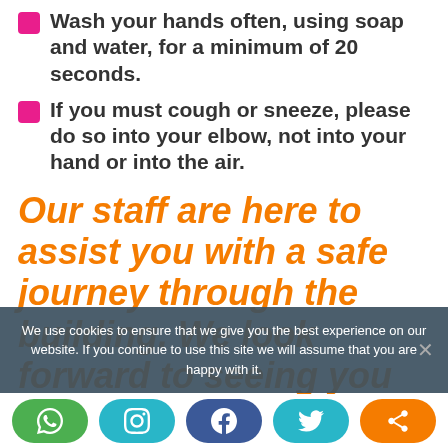Wash your hands often, using soap and water, for a minimum of 20 seconds.
If you must cough or sneeze, please do so into your elbow, not into your hand or into the air.
Our staff are here to assist you with a safe journey through the building. We look forward to seeing you all again.
We use cookies to ensure that we give you the best experience on our website. If you continue to use this site we will assume that you are happy with it.